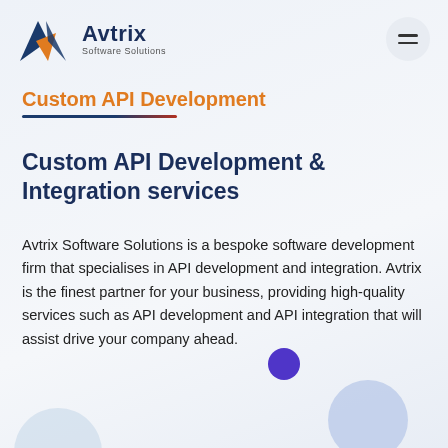Avtrix Software Solutions [logo + hamburger menu]
Custom API Development
Custom API Development & Integration services
Avtrix Software Solutions is a bespoke software development firm that specialises in API development and integration. Avtrix is the finest partner for your business, providing high-quality services such as API development and API integration that will assist drive your company ahead.